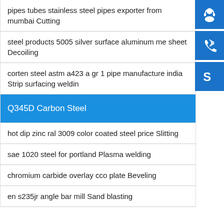pipes tubes stainless steel pipes exporter from mumbai Cutting
steel products 5005 silver surface aluminum me sheet Decoiling
corten steel astm a423 a gr 1 pipe manufacture india Strip surfacing weldin
Q345D Carbon Steel
hot dip zinc ral 3009 color coated steel price Slitting
sae 1020 steel for portland Plasma welding
chromium carbide overlay cco plate Beveling
en s235jr angle bar mill Sand blasting